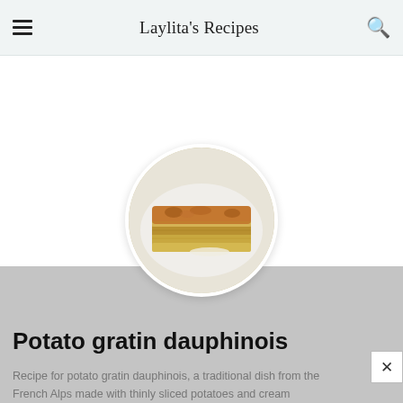Laylita's Recipes
[Figure (photo): Circular photo of potato gratin dauphinois served on a white plate, showing golden-brown cheesy layered potato slices]
Potato gratin dauphinois
Recipe for potato gratin dauphinois, a traditional dish from the French Alps made with thinly sliced potatoes and cream